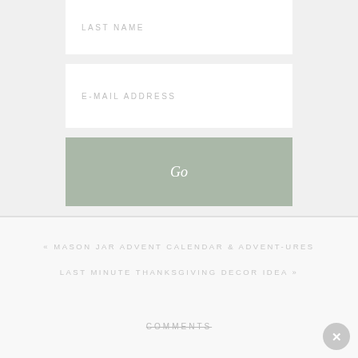LAST NAME
E-MAIL ADDRESS
Go
« MASON JAR ADVENT CALENDAR & ADVENT-URES
LAST MINUTE THANKSGIVING DECOR IDEA »
COMMENTS